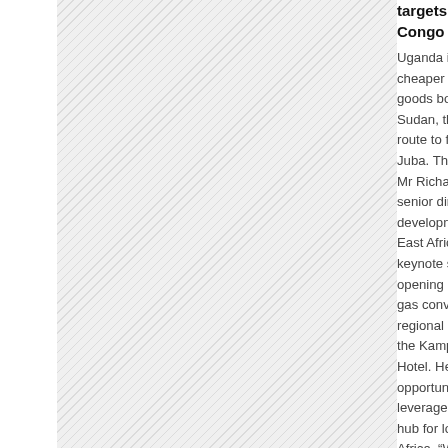[Figure (illustration): Hatched/diagonal-pattern background fill occupying the left and center portion of the page]
targets South S Congo with logi
Uganda is consid cheaper cargo ro goods bound to S Sudan, than the route to from Mo Juba. This was r Mr Richard Kam senior director fo development at T East Africa while keynote speech opening of the jo gas convention a regional logistics the Kampala Ser Hotel. He said th opportunity for U leverage if it was hub for logistics Africa. "When I lo the numbers, I sa